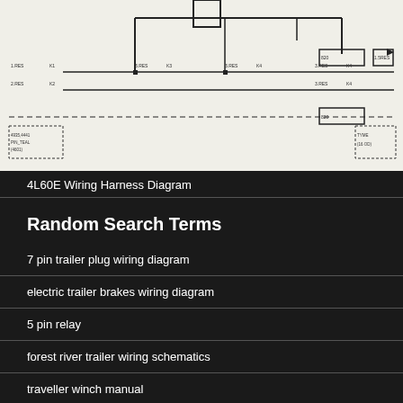[Figure (schematic): 4L60E Wiring Harness Diagram — electrical schematic showing wiring connections with labeled connectors, dashed lines, and component nodes on white background]
4L60E Wiring Harness Diagram
Random Search Terms
7 pin trailer plug wiring diagram
electric trailer brakes wiring diagram
5 pin relay
forest river trailer wiring schematics
traveller winch manual
contactor wiring diagram
semi trailer wiring diagram